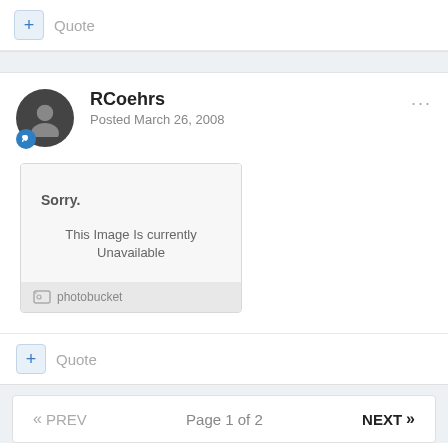+ Quote
RCoehrs
Posted March 26, 2008
[Figure (screenshot): Photobucket image placeholder showing 'Sorry. This Image Is currently Unavailable' with photobucket logo at bottom]
+ Quote
« PREV   Page 1 of 2   NEXT »